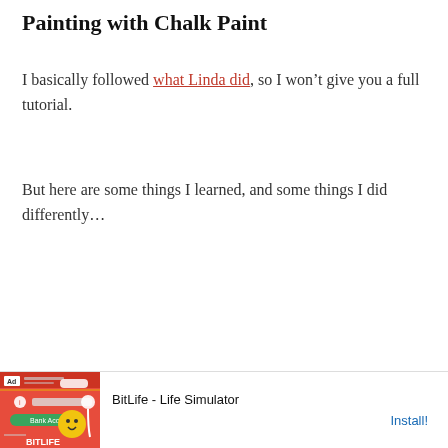Painting with Chalk Paint
I basically followed what Linda did, so I won't give you a full tutorial.
But here are some things I learned, and some things I did differently…
[Figure (screenshot): Advertisement banner for BitLife - Life Simulator app with red background graphic and Install! button]